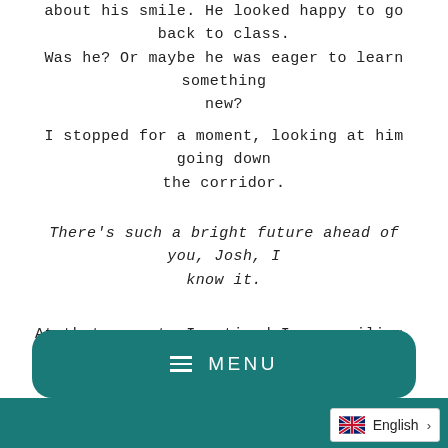about his smile. He looked happy to go back to class. Was he? Or maybe he was eager to learn something new?
I stopped for a moment, looking at him going down the corridor.
There's such a bright future ahead of you, Josh, I know it.
At that moment, I noticed I was smiling.
MENU